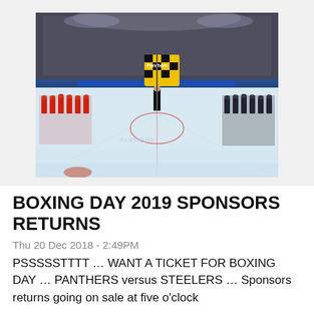[Figure (photo): Ice hockey arena scene showing two teams lined up on the ice rink for a pre-game ceremony. A person in the center holds a large yellow and black checkered flag with 'Panthers' written on it. The stands are packed with spectators. One team wears red and white uniforms (left side), the other wears dark uniforms (right side).]
BOXING DAY 2019 SPONSORS RETURNS
Thu 20 Dec 2018 - 2:49PM
PSSSSSTTTT … WANT A TICKET FOR BOXING DAY … PANTHERS versus STEELERS … Sponsors returns going on sale at five o'clock